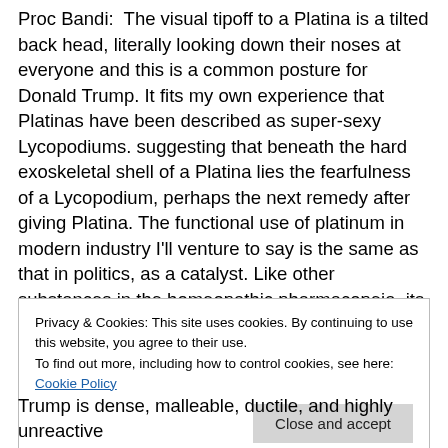Proc Bandi:  The visual tipoff to a Platina is a tilted back head, literally looking down their noses at everyone and this is a common posture for Donald Trump. It fits my own experience that Platinas have been described as super-sexy Lycopodiums. suggesting that beneath the hard exoskeletal shell of a Platina lies the fearfulness of a Lycopodium, perhaps the next remedy after giving Platina. The functional use of platinum in modern industry I'll venture to say is the same as that in politics, as a catalyst. Like other substances in the homeopathic pharmacopeia, its properties are anthropomorphic, meaning that people
Privacy & Cookies: This site uses cookies. By continuing to use this website, you agree to their use.
To find out more, including how to control cookies, see here: Cookie Policy
[Close and accept]
Trump is dense, malleable, ductile, and highly unreactive